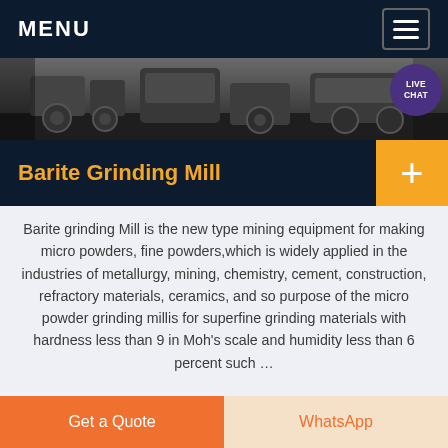MENU
[Figure (photo): Industrial mining machinery / grinding mill equipment in a dark workshop setting]
Barite Grinding Mill
Barite grinding Mill is the new type mining equipment for making micro powders, fine powders,which is widely applied in the industries of metallurgy, mining, chemistry, cement, construction, refractory materials, ceramics, and so purpose of the micro powder grinding millis for superfine grinding materials with hardness less than 9 in Moh's scale and humidity less than 6 percent such …
Get a Quote
WhatsApp